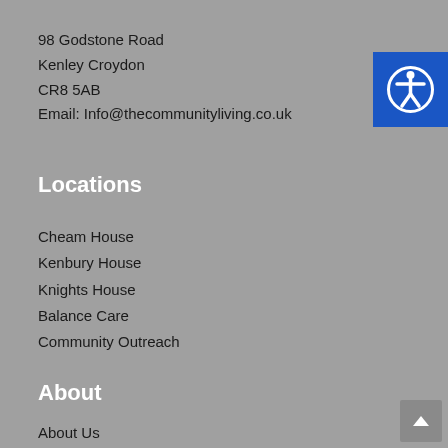98 Godstone Road
Kenley Croydon
CR8 5AB
Email: Info@thecommunityliving.co.uk
[Figure (logo): Accessibility icon button - blue square with white circle containing a person figure with arms outstretched]
Locations
Cheam House
Kenbury House
Knights House
Balance Care
Community Outreach
About
About Us